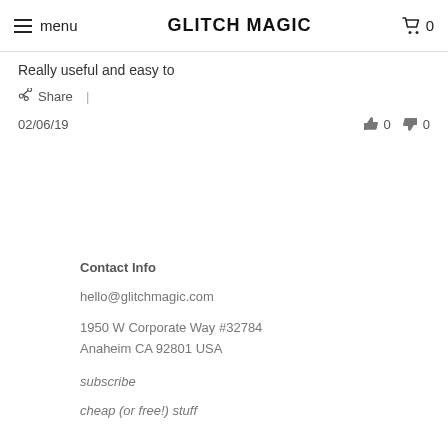menu | GLITCH MAGIC | 0
Really useful and easy to
Share |
02/06/19   👍 0   👎 0
Contact Info
hello@glitchmagic.com
1950 W Corporate Way #32784
Anaheim CA 92801 USA
subscribe
cheap (or free!) stuff